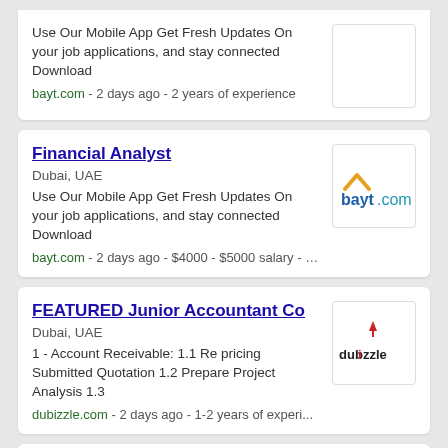Use Our Mobile App Get Fresh Updates On your job applications, and stay connected Download
bayt.com - 2 days ago - 2 years of experience
Financial Analyst
Dubai, UAE
Use Our Mobile App Get Fresh Updates On your job applications, and stay connected Download
bayt.com - 2 days ago - $4000 - $5000 salary - …
[Figure (logo): bayt.com logo with orange caret and blue text]
FEATURED Junior Accountant Co
Dubai, UAE
1 - Account Receivable: 1.1 Re pricing Submitted Quotation 1.2 Prepare Project Analysis 1.3
dubizzle.com - 2 days ago - 1-2 years of experi...
[Figure (logo): dubizzle logo with red flame and black text]
Female Finance Assistant
Dubai, UAE